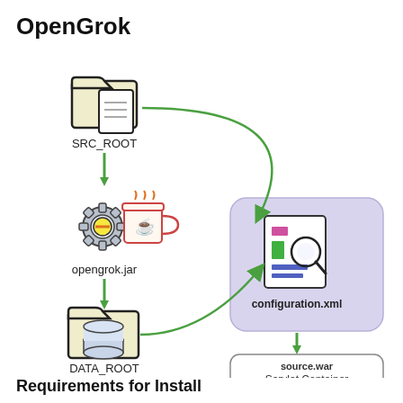OpenGrok
[Figure (flowchart): Architecture diagram showing SRC_ROOT folder and opengrok.jar (gear+coffee cup icon) feeding into DATA_ROOT folder, with arrows from SRC_ROOT and DATA_ROOT pointing to configuration.xml (document with magnifier icon in purple box), which then points down to source.war Servlet Container like Tomcat box.]
Requirements for Install